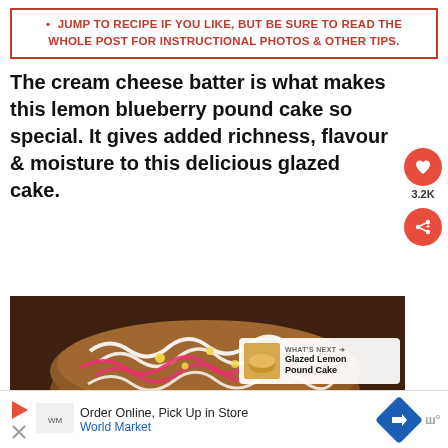JUMP TO RECIPE IF YOU LIKE, BUT BE SURE TO READ THE WHOLE POST FOR INSTRUCTIONAL PHOTOS & OTHER TIPS.
The cream cheese batter is what makes this lemon blueberry pound cake so special. It gives added richness, flavour & moisture to this delicious glazed cake.
[Figure (photo): Photo of a glazed lemon blueberry pound cake with pink and white striped icing drizzle on top, seen from slightly above]
WHAT'S NEXT → Glazed Lemon Pound Cake
Order Online, Pick Up in Store World Market